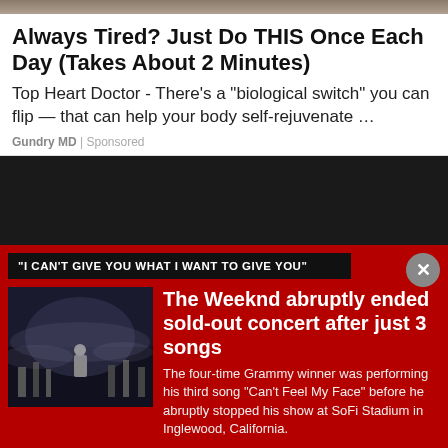[Figure (photo): Cropped top strip of an image, dark brown/tan tones, appears to be an animal photo]
Always Tired? Just Do THIS Once Each Day (Takes About 2 Minutes)
Top Heart Doctor - There’s a “biological switch” you can flip — that can help your body self-rejuvenate …
Gundry MD | Sponsored
[Figure (screenshot): Dark black/dark grey video player block]
"I CAN'T GIVE YOU WHAT I WANT TO GIVE YOU"
[Figure (photo): Concert photo showing a performer on stage with atmospheric foggy lighting and city backdrop]
The Weeknd abruptly ended sold-out concert after just 3 songs
The four-time Grammy winner was performing his third song "Can't Feel My Face" before he abruptly stopped his show at SoFi Stadium in Inglewood, California.